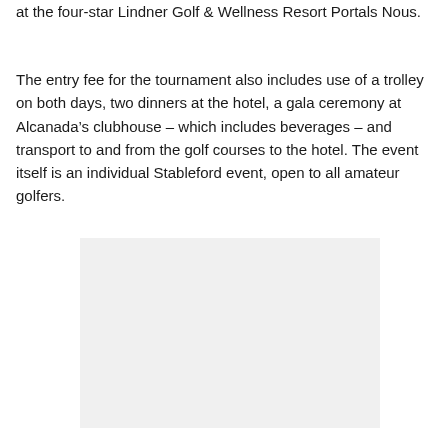at the four-star Lindner Golf & Wellness Resort Portals Nous.
The entry fee for the tournament also includes use of a trolley on both days, two dinners at the hotel, a gala ceremony at Alcanada’s clubhouse – which includes beverages – and transport to and from the golf courses to the hotel. The event itself is an individual Stableford event, open to all amateur golfers.
[Figure (photo): A light gray rectangular placeholder image, likely a photograph.]